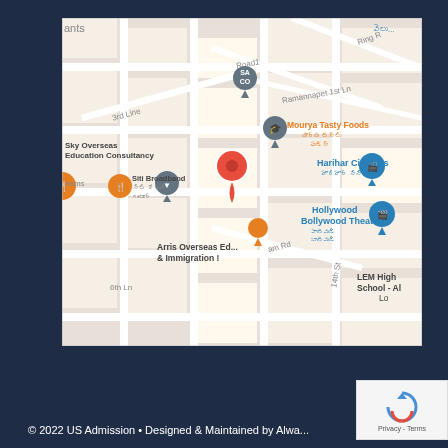[Figure (map): Google Maps screenshot showing a location pin in Guntur, India. Visible landmarks include Sky Overseas Education Consultancy, Siti Broadband, Harihar Cinemas, Hollywood Bollywood Theater, Mourya Tasty Foods, Arris Overseas Education & Immigration, LEM High School. Street labels include 3rd Line, Road1, Ramannapet 1st Ln, Ring Rd, 6th Ln, 14th St, am Rd. A red location pin is prominently shown near center.]
© 2022 US Admission • Designed & Maintained by Alwa...